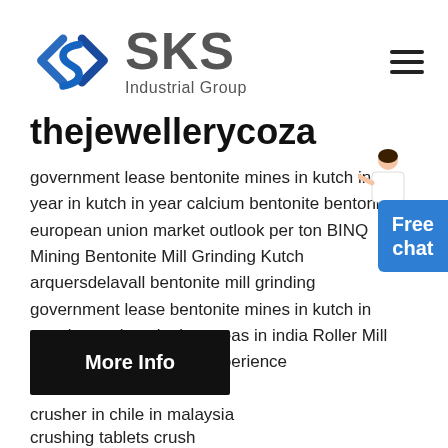[Figure (logo): SKS Industrial Group logo with blue angular diamond shape and grey SKS text]
thejewellerycoza
government lease bentonite mines in kutch in year in kutch in year calcium bentonite bentonite european union market outlook per ton BINQ Mining Bentonite Mill Grinding Kutch arquersdelavall bentonite mill grinding government lease bentonite mines in kutch in year bentonite minning areas in india Roller Mill adopts SCM abundant experience
[Figure (illustration): Woman in white blazer pointing, with a blue Free chat button beside her]
More Info
crusher in chile in malaysia
crushing tablets crush